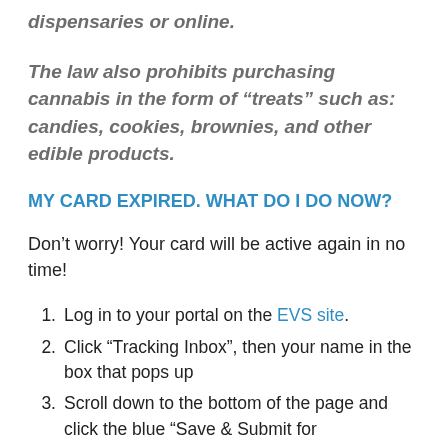dispensaries or online.
The law also prohibits purchasing cannabis in the form of “treats” such as: candies, cookies, brownies, and other edible products.
MY CARD EXPIRED. WHAT DO I DO NOW?
Don’t worry! Your card will be active again in no time!
Log in to your portal on the EVS site.
Click “Tracking Inbox”, then your name in the box that pops up
Scroll down to the bottom of the page and click the blue “Save & Submit for